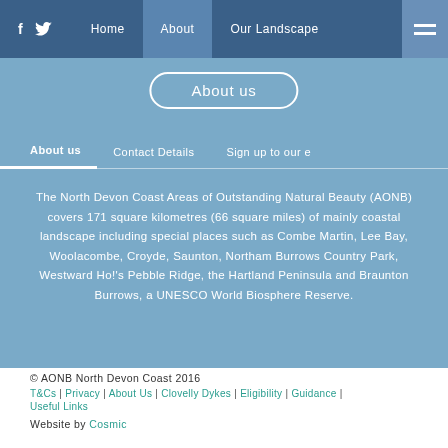f  [twitter]  Home  About  Our Landscape  [menu]
About us
About us  Contact Details  Sign up to our e
The North Devon Coast Areas of Outstanding Natural Beauty (AONB) covers 171 square kilometres (66 square miles) of mainly coastal landscape including special places such as Combe Martin, Lee Bay, Woolacombe, Croyde, Saunton, Northam Burrows Country Park, Westward Ho!'s Pebble Ridge, the Hartland Peninsula and Braunton Burrows, a UNESCO World Biosphere Reserve.
© AONB North Devon Coast 2016
T&Cs | Privacy | About Us | Clovelly Dykes | Eligibility | Guidance | Useful Links
Website by Cosmic